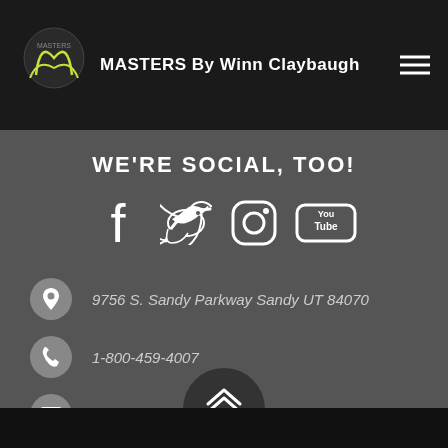MASTERS By Winn Claybaugh
WE'RE SOCIAL, TOO!
[Figure (infographic): Four social media icons: Facebook, Twitter, Instagram, YouTube]
9756 S. Sandy Parkway Sandy UT 84070
1-800-459-4007
info@masterspodcastclub.com